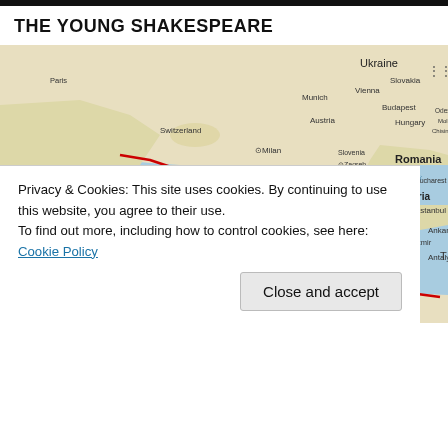THE YOUNG SHAKESPEARE
[Figure (map): Google map showing central/southern Europe and the Mediterranean, with a red route line drawn across the Adriatic Sea, through the Balkans, and toward North Africa/Tunisia. Countries visible include France, Italy, Switzerland, Austria, Slovenia, Croatia, Bosnia and Herzegovina, Serbia, Romania, Bulgaria, Greece, Albania, North Macedonia, Moldova, Ukraine. Cities visible include Paris, Munich, Vienna, Budapest, Milan, Rome, Zagreb, Belgrade, Bucharest, Sofia, Athens, Istanbul, Ankara, Algiers, Tunis.]
Privacy & Cookies: This site uses cookies. By continuing to use this website, you agree to their use.
To find out more, including how to control cookies, see here: Cookie Policy
Close and accept